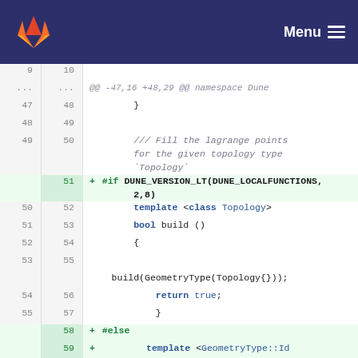GitLab — Menu
Code diff showing lines 9-59 of a C++ file in namespace Dune. Added lines include #if DUNE_VERSION_LT(DUNE_LOCALFUNCTIONS, 2,8) and #else with template <GeometryType::Id geometryId>. Other lines show template <class Topology>, bool build(), {, build(GeometryType(Topology{}));, return true;, }